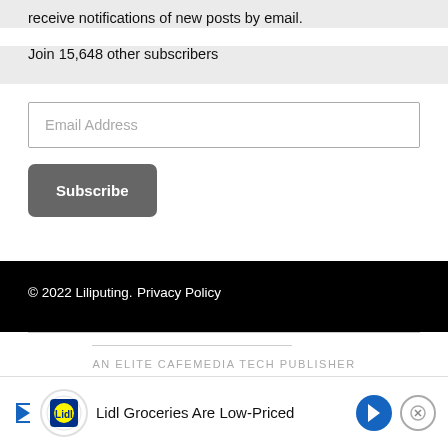receive notifications of new posts by email.
Join 15,648 other subscribers
Email Address
Subscribe
© 2022 Liliputing.
Privacy Policy
AN ELITE CAFEMEDIA TECH PUBLISHER
[Figure (infographic): Advertisement banner for Lidl Groceries with Lidl logo, navigation arrow icon, play/close controls, and text 'Lidl Groceries Are Low-Priced']